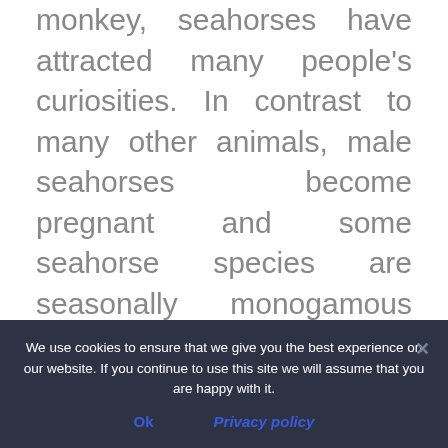monkey, seahorses have attracted many people's curiosities. In contrast to many other animals, male seahorses become pregnant and some seahorse species are seasonally monogamous (having only one mate at a time). Seahorses are also used in traditional medicine, which is believed to be effective against infertility, asthma, and many other illnesses. Thus, seahorses have become an important income source for many fishers and traders.
We use cookies to ensure that we give you the best experience on our website. If you continue to use this site we will assume that you are happy with it.